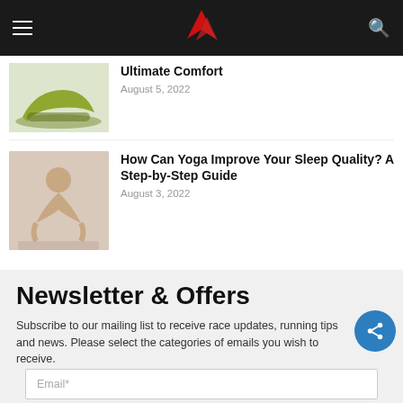Navigation bar with hamburger menu, logo, and search icon
Ultimate Comfort
August 5, 2022
How Can Yoga Improve Your Sleep Quality? A Step-by-Step Guide
August 3, 2022
Newsletter & Offers
Subscribe to our mailing list to receive race updates, running tips and news. Please select the categories of emails you wish to receive.